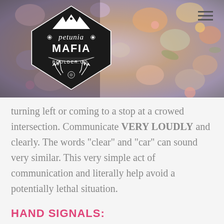[Figure (logo): Petunia Mafia Boulder CO logo — black diamond/shield shape with mountain peaks, floral decorations, and antlers, on a floral photograph background]
turning left or coming to a stop at a crowed intersection. Communicate VERY LOUDLY and clearly. The words “clear” and “car” can sound very similar. This very simple act of communication and literally help avoid a potentially lethal situation.
HAND SIGNALS: